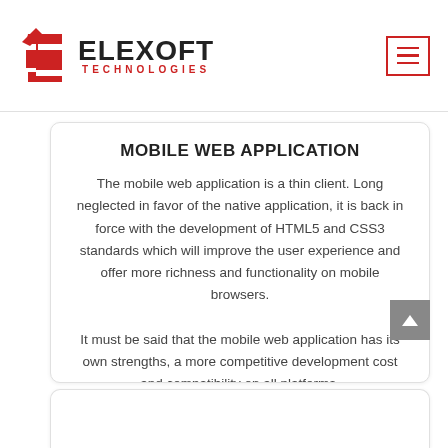[Figure (logo): Elexoft Technologies logo with red geometric S icon and text ELEXOFT TECHNOLOGIES]
MOBILE WEB APPLICATION
The mobile web application is a thin client. Long neglected in favor of the native application, it is back in force with the development of HTML5 and CSS3 standards which will improve the user experience and offer more richness and functionality on mobile browsers.
It must be said that the mobile web application has its own strengths, a more competitive development cost and compatibility on all platforms.